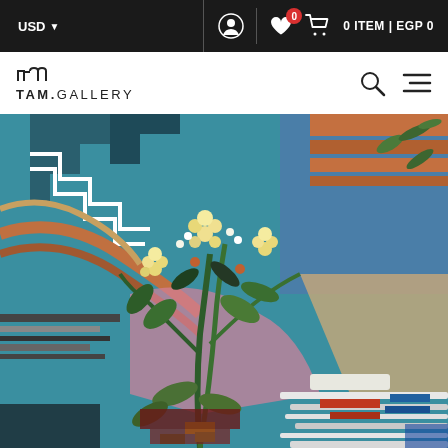USD  [user icon]  [heart 0] [cart] 0 ITEM | EGP 0
[Figure (logo): TAM.GALLERY logo with stylized wave/zigzag symbol above text]
[Figure (photo): Colorful painting showing flowers/plants in a vase with abstract geometric background in teal, blue, orange, pink, and earth tones. Paintbrushes visible in lower right.]